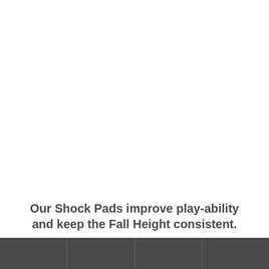Our Shock Pads improve play-ability and keep the Fall Height consistent.